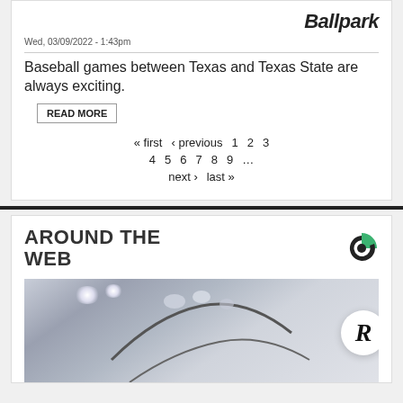[Figure (logo): Ballpark logo text in bold italic]
Wed, 03/09/2022 - 1:43pm
Baseball games between Texas and Texas State are always exciting.
READ MORE
« first  ‹ previous  1  2  3  4  5  6  7  8  9  ...  next ›  last »
AROUND THE WEB
[Figure (photo): Close-up photo of a knee implant or surgical device, gray/blue tones with metallic highlights]